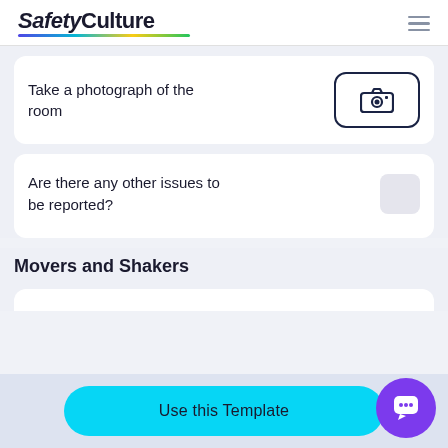SafetyCulture
Take a photograph of the room
Are there any other issues to be reported?
Movers and Shakers
Use this Template